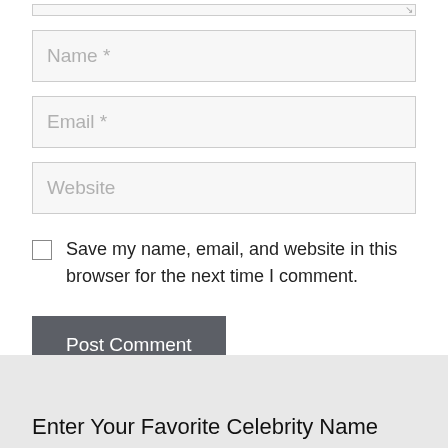[Figure (screenshot): Top portion of a textarea input field with resize handle visible at bottom-right corner]
Name *
Email *
Website
Save my name, email, and website in this browser for the next time I comment.
Post Comment
Enter Your Favorite Celebrity Name